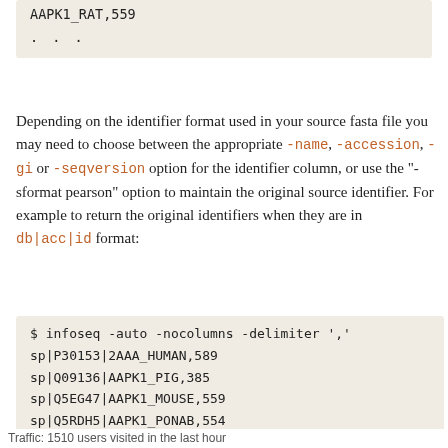AAPK1_RAT,559
...
Depending on the identifier format used in your source fasta file you may need to choose between the appropriate -name, -accession, -gi or -seqversion option for the identifier column, or use the "-sformat pearson" option to maintain the original source identifier. For example to return the original identifiers when they are in db|acc|id format:
$ infoseq -auto -nocolumns -delimiter ',
sp|P30153|2AAA_HUMAN,589
sp|Q09136|AAPK1_PIG,385
sp|Q5EG47|AAPK1_MOUSE,559
sp|Q5RDH5|AAPK1_PONAB,554
sp|Q13131|AAPK1_HUMAN,559
sp|P54645|AAPK1_RAT,559
...
Traffic: 1510 users visited in the last hour